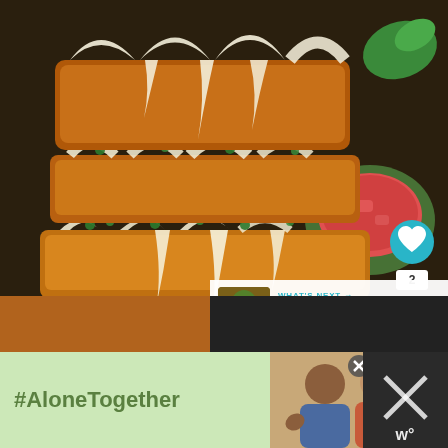[Figure (photo): Close-up photo of a pull-apart cheesy bread loaf with melted mozzarella cheese strings, green herbs/basil between layers of golden-brown bread, with a bowl of red marinara dipping sauce visible in the upper right background]
[Figure (infographic): UI overlay on photo showing a teal heart/like button with count of 2, and a teal share button with plus icon]
[Figure (infographic): What's Next panel showing a thumbnail of grilled vegetables and text 'WHAT'S NEXT → Grilled Vegetable...']
[Figure (photo): Advertisement banner at bottom with green background showing '#AloneTogether' text and a photo of two people waving, plus a dark panel on the right with an X close button]